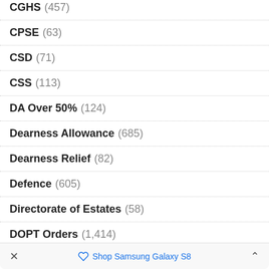CGHS (457)
CPSE (63)
CSD (71)
CSS (113)
DA Over 50% (124)
Dearness Allowance (685)
Dearness Relief (82)
Defence (605)
Directorate of Estates (58)
DOPT Orders (1,414)
Shop Samsung Galaxy S8